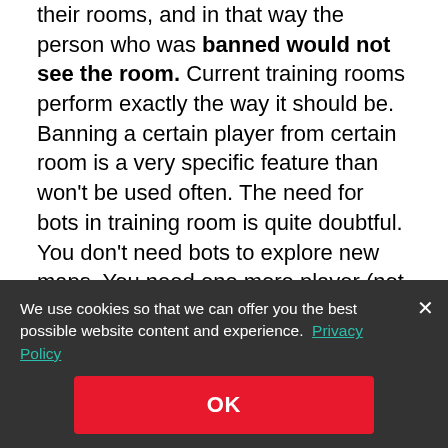their rooms, and in that way the person who was banned would not see the room. Current training rooms perform exactly the way it should be. Banning a certain player from certain room is a very specific feature than won't be used often. The need for bots in training room is quite doubtful. You don't need bots to explore new maps. You need one more player (not bot) to test a new tank's armor. Your skill won't
We use cookies so that we can offer you the best possible website content and experience. Privacy Policy
OK